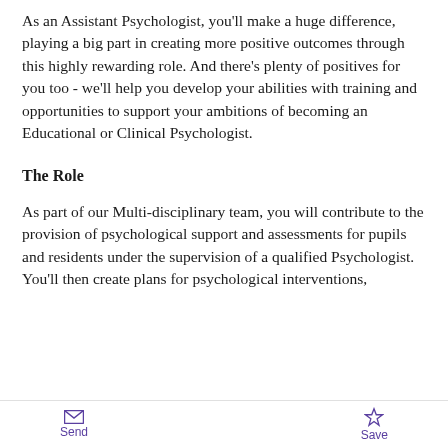As an Assistant Psychologist, you'll make a huge difference, playing a big part in creating more positive outcomes through this highly rewarding role. And there's plenty of positives for you too - we'll help you develop your abilities with training and opportunities to support your ambitions of becoming an Educational or Clinical Psychologist.
The Role
As part of our Multi-disciplinary team, you will contribute to the provision of psychological support and assessments for pupils and residents under the supervision of a qualified Psychologist. You'll then create plans for psychological interventions,
Send   Save